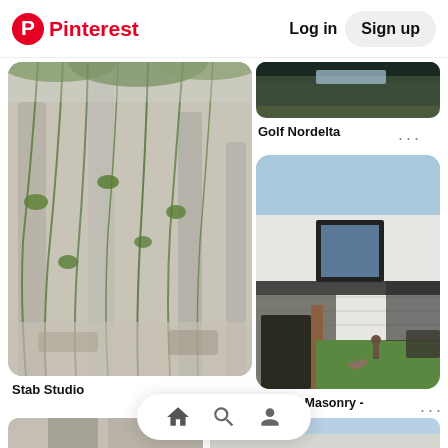Pinterest  Log in  Sign up
[Figure (photo): Modern pergola with concrete columns and hanging vines/plants, exterior architectural photo - Stab Studio]
Stab Studio
[Figure (photo): Partial top of a building image - Golf Nordelta]
Golf Nordelta
[Figure (photo): Modern white brick house exterior with square window cutout and courtyard with grass - Austral Masonry - Architec Honed in Pearl Grey]
Austral Masonry - Architec Honed in Pearl Grey
[Figure (photo): Bottom partial photo of modern building, left side]
[Figure (photo): Bottom partial photo of building with sky, right side]